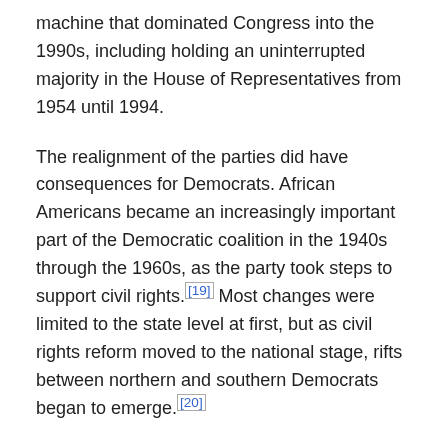machine that dominated Congress into the 1990s, including holding an uninterrupted majority in the House of Representatives from 1954 until 1994.
The realignment of the parties did have consequences for Democrats. African Americans became an increasingly important part of the Democratic coalition in the 1940s through the 1960s, as the party took steps to support civil rights.[19] Most changes were limited to the state level at first, but as civil rights reform moved to the national stage, rifts between northern and southern Democrats began to emerge.[20]
Southern Democrats became increasingly convinced that national efforts to provide social welfare and encourage racial integration were violating state sovereignty and social norms. By the 1970s, many had